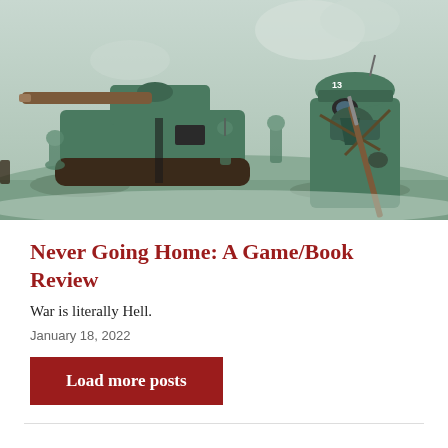[Figure (illustration): A stylized illustration of WWI-era soldiers and a tank in a smoky battlefield. The soldiers and tank are depicted in green-grey tones. A soldier in a gas mask with a rifle stands prominently on the right; a large tank with treads occupies the center-left; other soldiers march in the background.]
Never Going Home: A Game/Book Review
War is literally Hell.
January 18, 2022
Load more posts